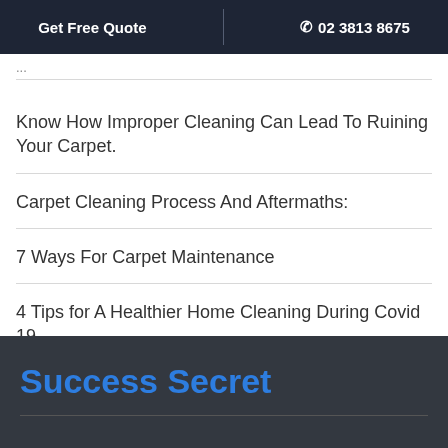Get Free Quote | 02 3813 8675
...
Know How Improper Cleaning Can Lead To Ruining Your Carpet.
Carpet Cleaning Process And Aftermaths:
7 Ways For Carpet Maintenance
4 Tips for A Healthier Home Cleaning During Covid 19
Success Secret